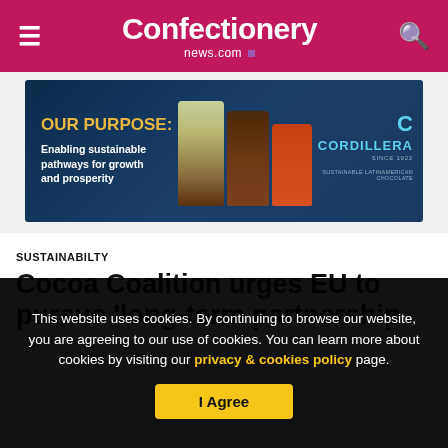Confectionery news.com
[Figure (photo): Cordillera chocolate brand advertisement banner: 'OUR PURPOSE: Enabling sustainable pathways for growth and prosperity' with chocolate packages and brand logo on dark blue background]
SUSTAINABILTY
Cocoa Coalition urges EU to pursue 'long-term partnership
This website uses cookies. By continuing to browse our website, you are agreeing to our use of cookies. You can learn more about cookies by visiting our privacy & cookies policy page.
I Agree